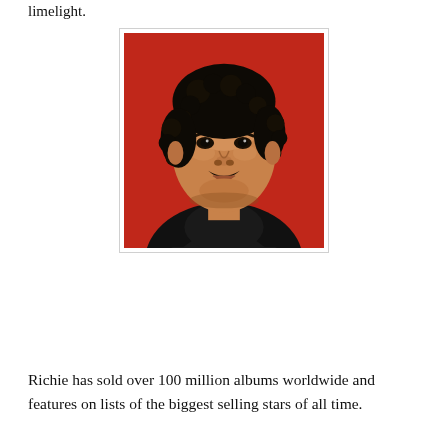limelight.
[Figure (photo): Portrait photo of Lionel Richie against a red background, wearing a black jacket and black shirt, with a mustache and curly hair.]
Richie has sold over 100 million albums worldwide and features on lists of the biggest selling stars of all time.